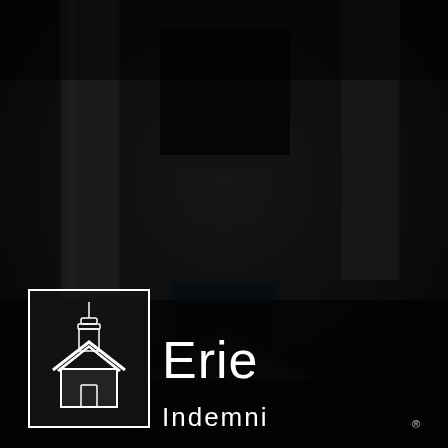[Figure (photo): Dark, moody photograph of a classical building facade with columns and a window, heavily shadowed, serving as background for the Erie Insurance logo cover page.]
[Figure (logo): Erie Insurance logo: a white outlined rectangle containing a stylized building/house icon with a cupola, beside the text 'Erie' in large white letters and a partially visible second line below, with a registered trademark symbol.]